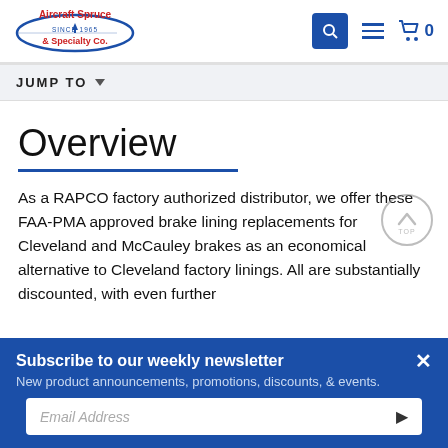[Figure (logo): Aircraft Spruce & Specialty Co. logo with red text and blue oval emblem]
JUMP TO
Overview
As a RAPCO factory authorized distributor, we offer these FAA-PMA approved brake lining replacements for Cleveland and McCauley brakes as an economical alternative to Cleveland factory linings. All are substantially discounted, with even further
Subscribe to our weekly newsletter
New product announcements, promotions, discounts, & events.
Email Address